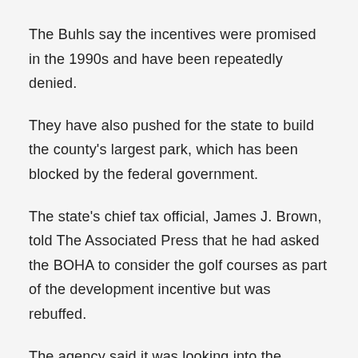The Buhls say the incentives were promised in the 1990s and have been repeatedly denied.
They have also pushed for the state to build the county's largest park, which has been blocked by the federal government.
The state's chief tax official, James J. Brown, told The Associated Press that he had asked the BOHA to consider the golf courses as part of the development incentive but was rebuffed.
The agency said it was looking into the matter.